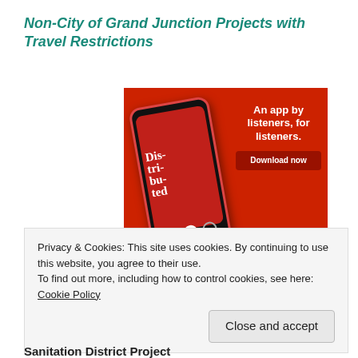Non-City of Grand Junction Projects with Travel Restrictions
[Figure (illustration): Advertisement banner for a podcast app. Red background with a smartphone showing 'Distributed' podcast, white bold text 'An app by listeners, for listeners.' with a 'Download now' button.]
Privacy & Cookies: This site uses cookies. By continuing to use this website, you agree to their use.
To find out more, including how to control cookies, see here: Cookie Policy
Close and accept
Sanitation District Project